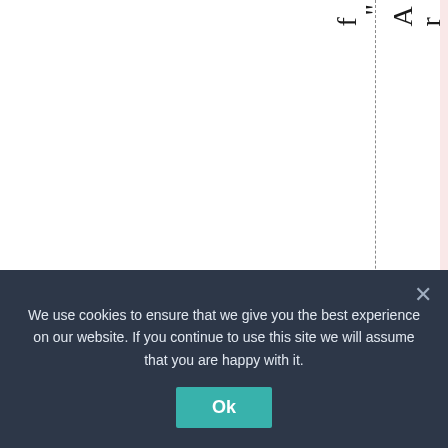"Arcticclimatesci...
We use cookies to ensure that we give you the best experience on our website. If you continue to use this site we will assume that you are happy with it.